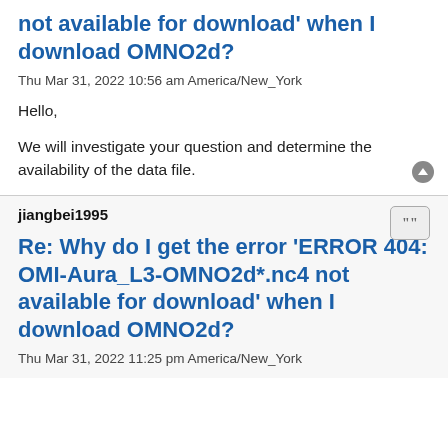not available for download' when I download OMNO2d?
Thu Mar 31, 2022 10:56 am America/New_York
Hello,

We will investigate your question and determine the availability of the data file.
jiangbei1995
Re: Why do I get the error 'ERROR 404: OMI-Aura_L3-OMNO2d*.nc4 not available for download' when I download OMNO2d?
Thu Mar 31, 2022 11:25 pm America/New_York